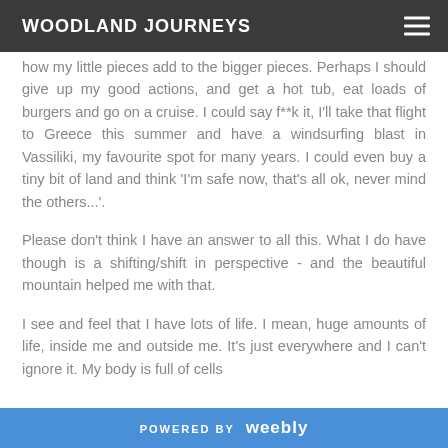WOODLAND JOURNEYS
how my little pieces add to the bigger pieces. Perhaps I should give up my good actions, and get a hot tub, eat loads of burgers and go on a cruise. I could say f**k it, I'll take that flight to Greece this summer and have a windsurfing blast in Vassiliki, my favourite spot for many years. I could even buy a tiny bit of land and think 'I'm safe now, that's all ok, never mind the others...'.
Please don't think I have an answer to all this. What I do have though is a shifting/shift in perspective - and the beautiful mountain helped me with that.
I see and feel that I have lots of life. I mean, huge amounts of life, inside me and outside me. It's just everywhere and I can't ignore it. My body is full of cells
POWERED BY weebly